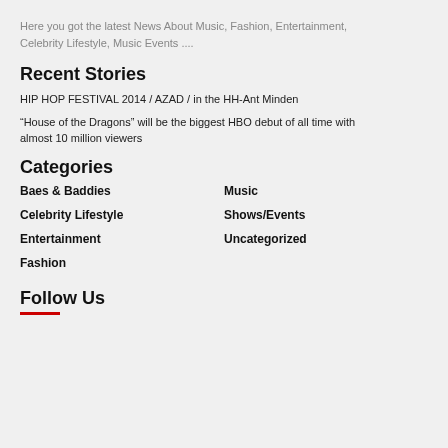Here you got the latest News About Music, Fashion, Entertainment, Celebrity Lifestyle, Music Events ....
Recent Stories
HIP HOP FESTIVAL 2014 / AZAD / in the HH-Ant Minden
“House of the Dragons” will be the biggest HBO debut of all time with almost 10 million viewers
Categories
Baes & Baddies
Music
Celebrity Lifestyle
Shows/Events
Entertainment
Uncategorized
Fashion
Follow Us